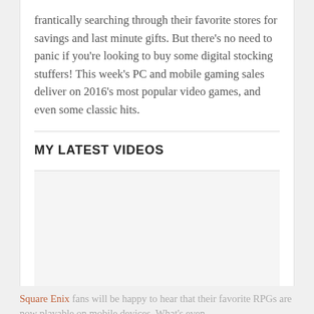frantically searching through their favorite stores for savings and last minute gifts. But there’s no need to panic if you’re looking to buy some digital stocking stuffers! This week’s PC and mobile gaming sales deliver on 2016’s most popular video games, and even some classic hits.
MY LATEST VIDEOS
[Figure (other): Embedded video player area (blank/loading state)]
Square Enix fans will be happy to hear that their favorite RPGs are now playable on mobile devices. What’s even